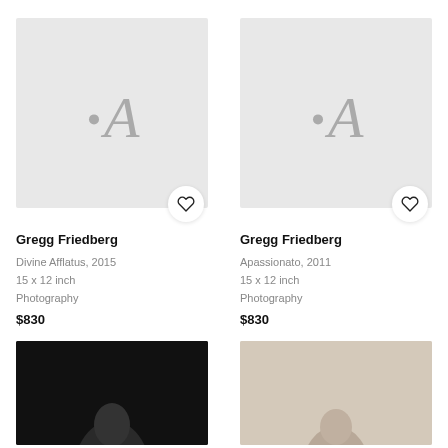[Figure (illustration): Gray placeholder thumbnail with Artsy logo (.A) for artwork 'Divine Afflatus' with heart/favorite button]
Gregg Friedberg
Divine Afflatus, 2015
15 x 12 inch
Photography
$830
[Figure (illustration): Gray placeholder thumbnail with Artsy logo (.A) for artwork 'Apassionato' with heart/favorite button]
Gregg Friedberg
Apassionato, 2011
15 x 12 inch
Photography
$830
[Figure (photo): Dark/black background photo showing a figure, partially cropped at bottom]
[Figure (photo): Light beige background photo showing a figure, partially cropped at bottom]